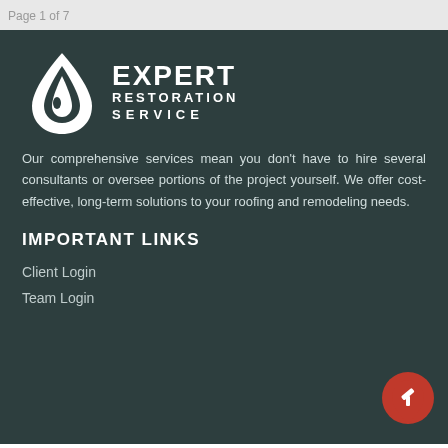Page 1 of 7
[Figure (logo): Expert Restoration Service logo with water drop/flame icon and bold text]
Our comprehensive services mean you don't have to hire several consultants or oversee portions of the project yourself. We offer cost-effective, long-term solutions to your roofing and remodeling needs.
IMPORTANT LINKS
Client Login
Team Login